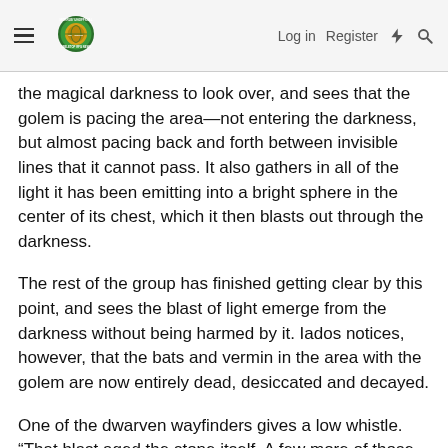Morrus' Unofficial Tabletop RPG News — Log in  Register
the magical darkness to look over, and sees that the golem is pacing the area—not entering the darkness, but almost pacing back and forth between invisible lines that it cannot pass. It also gathers in all of the light it has been emitting into a bright sphere in the center of its chest, which it then blasts out through the darkness.
The rest of the group has finished getting clear by this point, and sees the blast of light emerge from the darkness without being harmed by it. Iados notices, however, that the bats and vermin in the area with the golem are now entirely dead, desiccated and decayed.
One of the dwarven wayfinders gives a low whistle. “That blast aged the stone itself. A few more of those, and the whole ceiling might come down.”